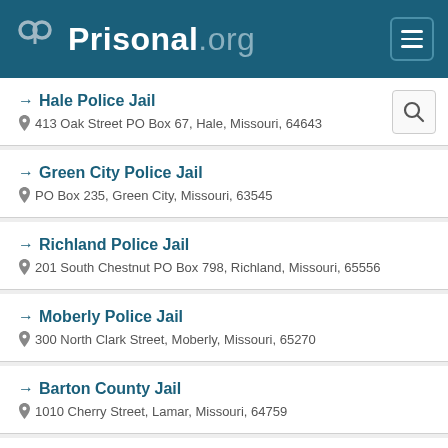Prisonal.org
Hale Police Jail — 413 Oak Street PO Box 67, Hale, Missouri, 64643
Green City Police Jail — PO Box 235, Green City, Missouri, 63545
Richland Police Jail — 201 South Chestnut PO Box 798, Richland, Missouri, 65556
Moberly Police Jail — 300 North Clark Street, Moberly, Missouri, 65270
Barton County Jail — 1010 Cherry Street, Lamar, Missouri, 64759
City of New Madrid Police Jail — 537 A Mott Street City Hall Annex, New Madrid, Missouri, 63869-0096